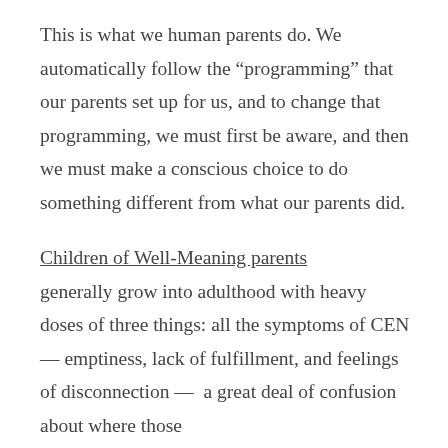This is what we human parents do. We automatically follow the “programming” that our parents set up for us, and to change that programming, we must first be aware, and then we must make a conscious choice to do something different from what our parents did.
Children of Well-Meaning parents
generally grow into adulthood with heavy doses of three things: all the symptoms of CEN — emptiness, lack of fulfillment, and feelings of disconnection —  a great deal of confusion about where those